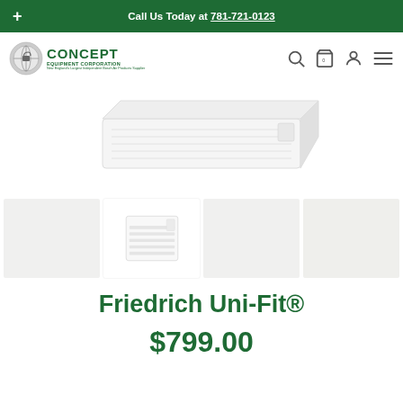+ Call Us Today at 781-721-0123
[Figure (logo): Concept Equipment Corporation logo with globe icon and tagline 'New England's Largest Independent Bosch Air Products Supplier']
[Figure (photo): Friedrich Uni-Fit product main image showing white wall-mounted air conditioner unit]
[Figure (photo): Thumbnail gallery row with four product images of Friedrich Uni-Fit air conditioner]
Friedrich Uni-Fit®
$799.00